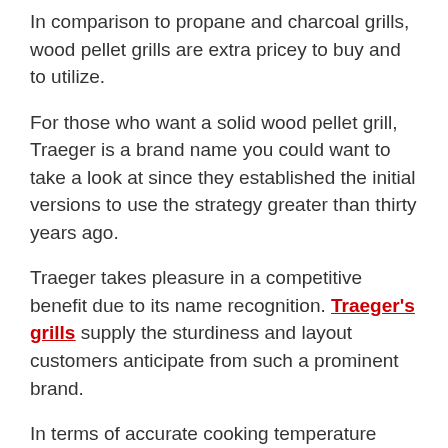In comparison to propane and charcoal grills, wood pellet grills are extra pricey to buy and to utilize.
For those who want a solid wood pellet grill, Traeger is a brand name you could want to take a look at since they established the initial versions to use the strategy greater than thirty years ago.
Traeger takes pleasure in a competitive benefit due to its name recognition. Traeger's grills supply the sturdiness and layout customers anticipate from such a prominent brand.
In terms of accurate cooking temperature levels, Traegers do not commonly complete with higher-end systems presently offered on the